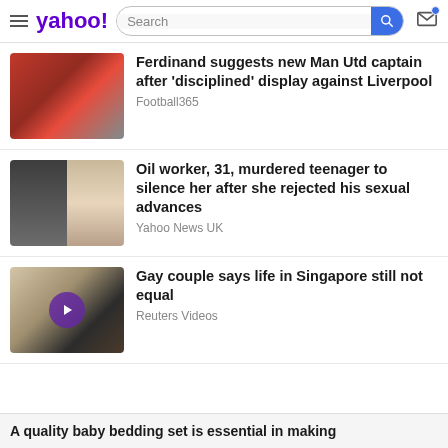yahoo! Search
Ferdinand suggests new Man Utd captain after 'disciplined' display against Liverpool
Football365
Oil worker, 31, murdered teenager to silence her after she rejected his sexual advances
Yahoo News UK
Gay couple says life in Singapore still not equal
Reuters Videos
A quality baby bedding set is essential in making